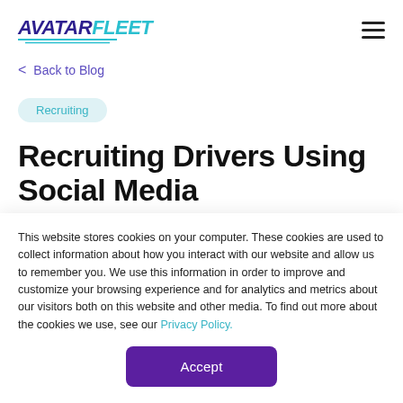AVATAR FLEET
< Back to Blog
Recruiting
Recruiting Drivers Using Social Media
This website stores cookies on your computer. These cookies are used to collect information about how you interact with our website and allow us to remember you. We use this information in order to improve and customize your browsing experience and for analytics and metrics about our visitors both on this website and other media. To find out more about the cookies we use, see our Privacy Policy.
Accept